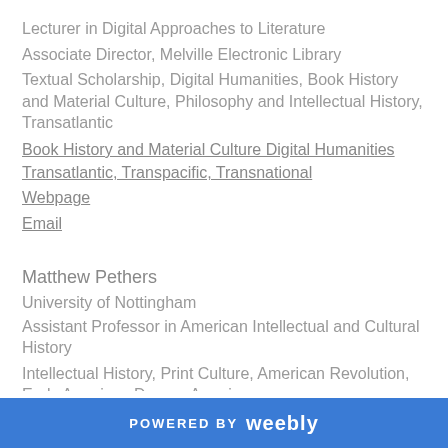Lecturer in Digital Approaches to Literature
Associate Director, Melville Electronic Library
Textual Scholarship, Digital Humanities, Book History and Material Culture, Philosophy and Intellectual History, Transatlantic
Book History and Material Culture Digital Humanities Transatlantic, Transpacific, Transnational
Webpage
Email
Matthew Pethers
University of Nottingham
Assistant Professor in American Intellectual and Cultural History
Intellectual History, Print Culture, American Revolution, Early American Drama, American
POWERED BY weebly